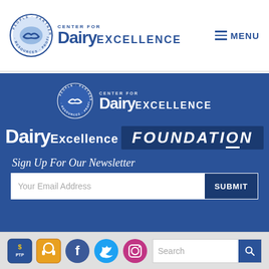[Figure (logo): Center for Dairy Excellence logo with circular badge and text in header]
≡ MENU
[Figure (logo): Center for Dairy Excellence logo on blue background]
[Figure (logo): Dairy Excellence Foundation logo in white on blue]
Sign Up For Our Newsletter
Your Email Address
SUBMIT
[Figure (logo): Social media icons: PTP, headphone icon, Facebook, Twitter, Instagram]
Search